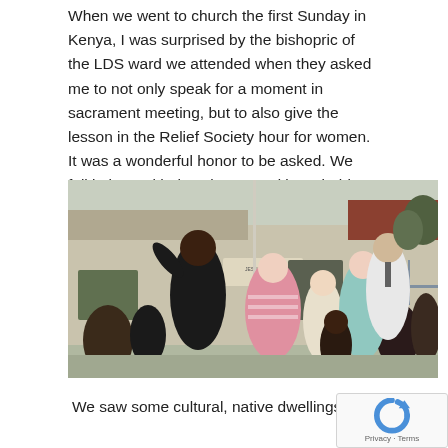When we went to church the first Sunday in Kenya, I was surprised by the bishopric of the LDS ward we attended when they asked me to not only speak for a moment in sacrament meeting, but to also give the lesson in the Relief Society hour for women. It was a wonderful honor to be asked. We fell in love with the Riruta Ward in Nairobi!
[Figure (photo): Group photo of several adults and children posing outside an LDS church building in Nairobi. A man in a suit is waving on the left, and the group includes women and children smiling at the camera. A church sign is visible on the building in the background.]
We saw some cultural, native dwellings.